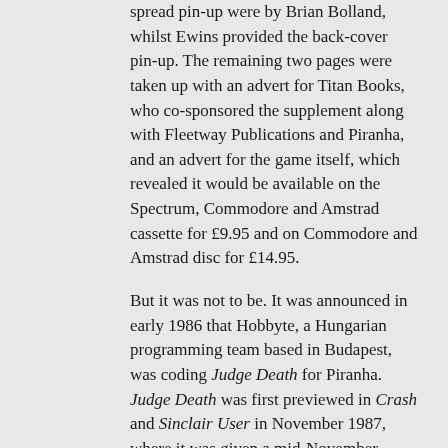spread pin-up were by Brian Bolland, whilst Ewins provided the back-cover pin-up. The remaining two pages were taken up with an advert for Titan Books, who co-sponsored the supplement along with Fleetway Publications and Piranha, and an advert for the game itself, which revealed it would be available on the Spectrum, Commodore and Amstrad cassette for £9.95 and on Commodore and Amstrad disc for £14.95.
But it was not to be. It was announced in early 1986 that Hobbyte, a Hungarian programming team based in Budapest, was coding Judge Death for Piranha. Judge Death was first previewed in Crash and Sinclair User in November 1987, where it was given a mid-November release date.